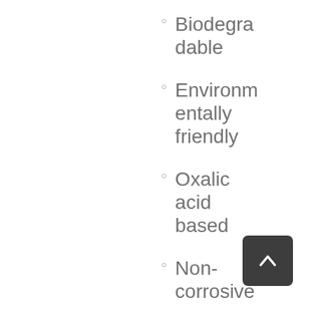Biodegradable
Environmentally friendly
Oxalic acid based
Non-corrosive
Economical concentr